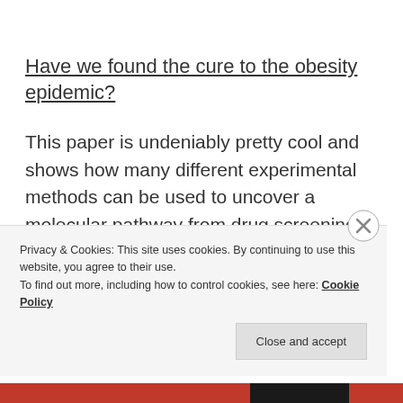Have we found the cure to the obesity epidemic?
This paper is undeniably pretty cool and shows how many different experimental methods can be used to uncover a molecular pathway from drug screening, testing to translational therapeutics. But, although entacapone is FDA-approved the dose used in mice was high and the side effects of long-term use would
Privacy & Cookies: This site uses cookies. By continuing to use this website, you agree to their use.
To find out more, including how to control cookies, see here: Cookie Policy
Close and accept